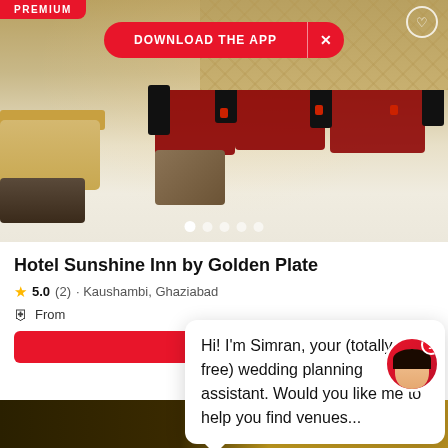[Figure (screenshot): Hotel interior photo showing restaurant/banquet hall with black chairs, red tablecloths, cream sofas, central ottoman, decorative lattice wall, and warm lighting]
PREMIUM
DOWNLOAD THE APP  X
Hotel Sunshine Inn by Golden Plate
5.0 (2) · Kaushambi, Ghaziabad
From
Hi! I'm Simran, your (totally free) wedding planning assistant. Would you like me to help you find venues...